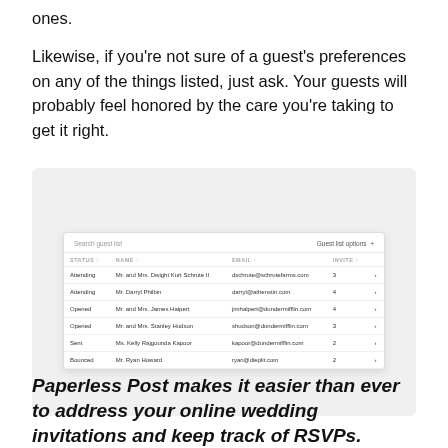ones.
Likewise, if you're not sure of a guest's preferences on any of the things listed, just ask. Your guests will probably feel honored by the care you're taking to get it right.
[Figure (screenshot): Screenshot of a Paperless Post guest list management interface showing a table with columns for Status, Name, Email, and Invite. Rows include: Attending - Mr. and Mrs. Dwight Kurt Schrute II (dschrute@schrutefarms.com, 3); Attending - Mr. Darryl Philbin (darryl@athenstin.com, 4); Opened - Mr. and Mrs. James Halpert (jimhalpert@dundermifflin.com, 4); Opened - Mr. and Mrs. Stanley Hudson (shudson@dundermifflin.com, 3); Sent - Ms. Kelly Rajgounda Kapoor (kapoor@dundermifflin.com, 2); Bounced - Mr. Ryan Howard (ryan@dieplit.com, 2).]
Paperless Post makes it easier than ever to address your online wedding invitations and keep track of RSVPs.